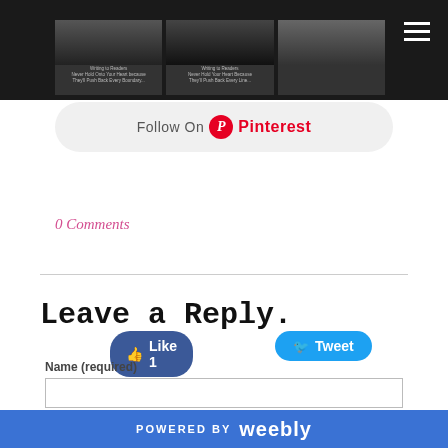[Figure (screenshot): Top navigation bar with dark background showing Pinterest image strip and hamburger menu]
[Figure (screenshot): Follow On Pinterest button strip with Pinterest logo]
[Figure (screenshot): Facebook Like button (Like 1) and Twitter Tweet button]
0 Comments
Leave a Reply.
Name (required)
POWERED BY weebly